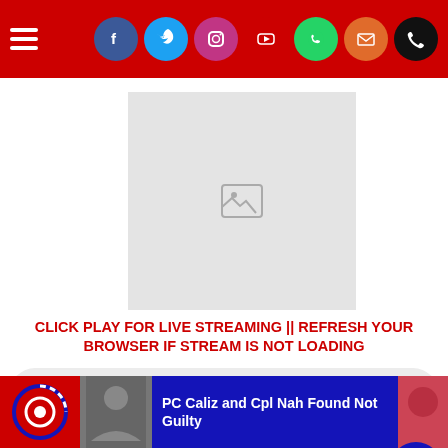Navigation top bar with hamburger menu and social media icons (Facebook, Twitter, Instagram, YouTube, WhatsApp, Email, Phone)
[Figure (photo): Placeholder image thumbnail with broken image icon on light grey background]
CLICK PLAY FOR LIVE STREAMING || REFRESH YOUR BROWSER IF STREAM IS NOT LOADING
[Figure (other): Audio player control bar with play button, time display 0:00, progress bar, and volume icon]
[Figure (other): Bottom navigation bar with home icon, hamburger menu, search icon, and YouTube button]
[Figure (other): News ticker bar at bottom with circular logo, thumbnail photo, headline text 'PC Caliz and Cpl Nah Found Not Guilty', and right thumbnail]